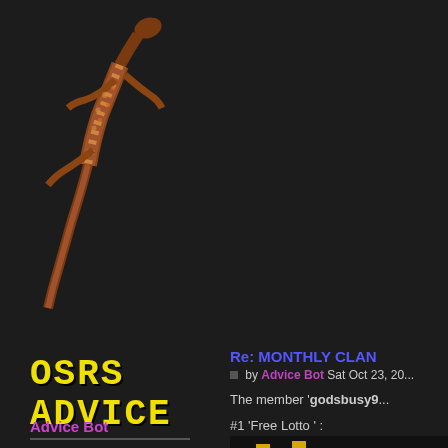[Figure (photo): A brown/orange lizard (monitor lizard or tegu) on a dark background, positioned diagonally in the upper-left area of the page]
OSRS ADVICE
Advice Bot
Re: MONTHLY CLAN
by Advice Bot Sat Oct 23, 20...
The member 'godsbusy9...
#1 'Free Lotto ' :
[Figure (screenshot): Screenshot of OSRS (Old School RuneScape) game interface showing yellow/gold bar chart-like graphics and the OSRS logo letters partially visible]